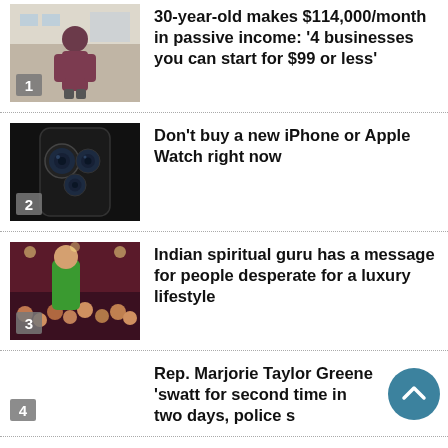[Figure (photo): Man in maroon hoodie standing outside a building]
30-year-old makes $114,000/month in passive income: '4 businesses you can start for $99 or less'
[Figure (photo): Close-up of iPhone triple camera system on dark background]
Don't buy a new iPhone or Apple Watch right now
[Figure (photo): Indian spiritual guru in green outfit performing on stage with crowd]
Indian spiritual guru has a message for people desperate for a luxury lifestyle
Rep. Marjorie Taylor Greene 'swatt for second time in two days, police s
This 31-year-old quit her job, lives in a